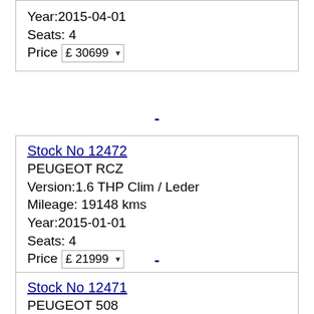Year:2015-04-01
Seats: 4
Price £ 30699
-
Stock No 12472
PEUGEOT RCZ
Version:1.6 THP Clim / Leder
Mileage: 19148 kms
Year:2015-01-01
Seats: 4
Price £ 21999
-
Stock No 12471
PEUGEOT 508